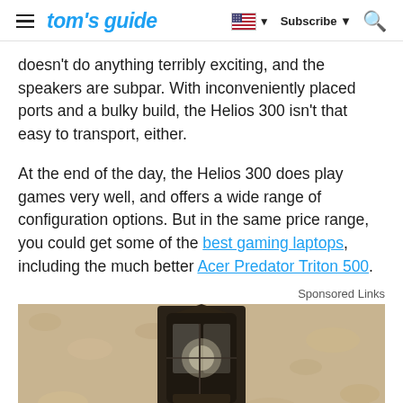tom's guide — Subscribe
doesn't do anything terribly exciting, and the speakers are subpar. With inconveniently placed ports and a bulky build, the Helios 300 isn't that easy to transport, either.
At the end of the day, the Helios 300 does play games very well, and offers a wide range of configuration options. But in the same price range, you could get some of the best gaming laptops, including the much better Acer Predator Triton 500.
Sponsored Links
[Figure (photo): Photo of a vintage outdoor wall-mounted lantern light fixture against a textured stucco wall]